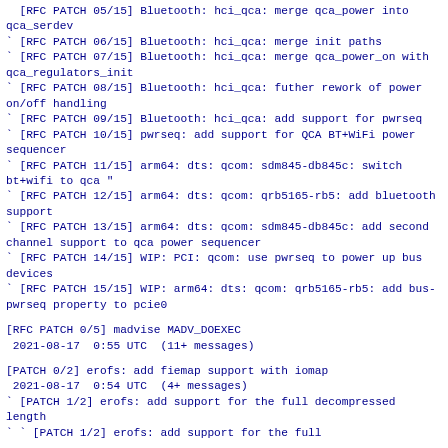` [RFC PATCH 05/15] Bluetooth: hci_qca: merge qca_power into qca_serdev
` [RFC PATCH 06/15] Bluetooth: hci_qca: merge init paths
` [RFC PATCH 07/15] Bluetooth: hci_qca: merge qca_power_on with qca_regulators_init
` [RFC PATCH 08/15] Bluetooth: hci_qca: futher rework of power on/off handling
` [RFC PATCH 09/15] Bluetooth: hci_qca: add support for pwrseq
` [RFC PATCH 10/15] pwrseq: add support for QCA BT+WiFi power sequencer
` [RFC PATCH 11/15] arm64: dts: qcom: sdm845-db845c: switch bt+wifi to qca "
` [RFC PATCH 12/15] arm64: dts: qcom: qrb5165-rb5: add bluetooth support
` [RFC PATCH 13/15] arm64: dts: qcom: sdm845-db845c: add second channel support to qca power sequencer
` [RFC PATCH 14/15] WIP: PCI: qcom: use pwrseq to power up bus devices
` [RFC PATCH 15/15] WIP: arm64: dts: qcom: qrb5165-rb5: add bus-pwrseq property to pcie0
[RFC PATCH 0/5] madvise MADV_DOEXEC
 2021-08-17  0:55 UTC  (11+ messages)
[PATCH 0/2] erofs: add fiemap support with iomap
 2021-08-17  0:54 UTC  (4+ messages)
` [PATCH 1/2] erofs: add support for the full decompressed length
` [PATCH 1/2] erofs: add support for the full